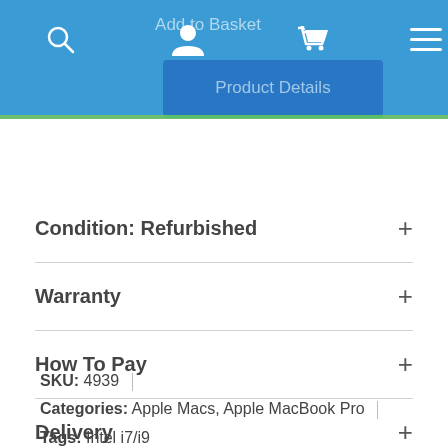[Figure (screenshot): Mobile e-commerce navigation bar with search, user, basket and hamburger menu icons, an Add to Basket button, and a Product Details tab with green underline indicator]
Condition: Refurbished
Warranty
How To Pay
Delivery
Returns.
SKU: 4939
Categories: Apple Macs, Apple MacBook Pro
Tags: Intel i7/i9